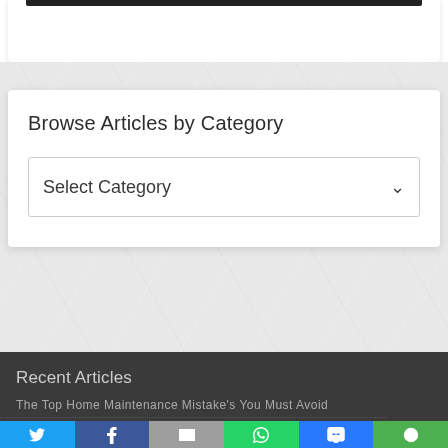[Figure (screenshot): Top white card with black bar at the top edge, partially visible at top of page]
Browse Articles by Category
[Figure (screenshot): Select Category dropdown box with chevron arrow]
Recent Articles
The Top Home Maintenance Mistake's You Must Avoid
[Figure (infographic): Social share bar with Twitter, Facebook, Email, WhatsApp, SMS, and More buttons]